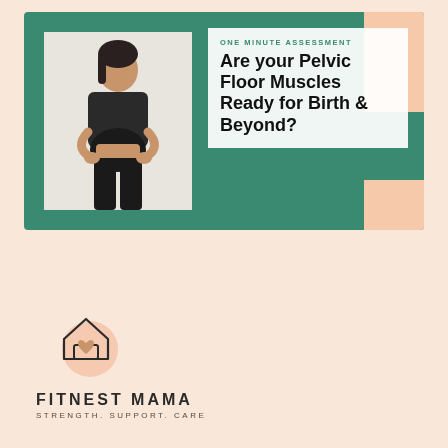[Figure (photo): Marketing banner for FitNest Mama pelvic floor assessment. Green background banner with photo of pregnant woman in black activewear holding her belly, standing in front of a round woven wreath decoration. White text card overlay reads 'ONE MINUTE ASSESSMENT' and 'Are your Pelvic Floor Muscles Ready for Birth & Beyond?'. Peach accent blocks in top-right and bottom-right corners.]
[Figure (logo): FitNest Mama logo: line-drawing of a house shape with a heart inside, with a peach circle behind. Text 'FITNEST MAMA' in bold spaced uppercase, below 'STRENGTH. SUPPORT. CARE' in small spaced uppercase.]